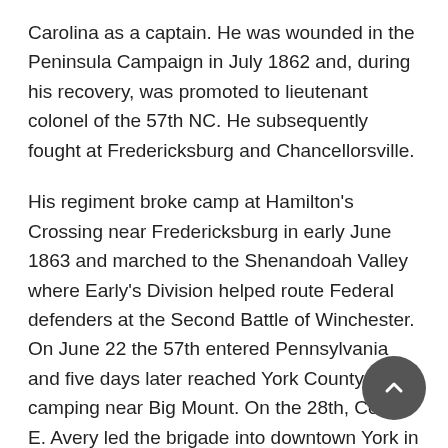Carolina as a captain. He was wounded in the Peninsula Campaign in July 1862 and, during his recovery, was promoted to lieutenant colonel of the 57th NC. He subsequently fought at Fredericksburg and Chancellorsville.
His regiment broke camp at Hamilton's Crossing near Fredericksburg in early June 1863 and marched to the Shenandoah Valley where Early's Division helped route Federal defenders at the Second Battle of Winchester. On June 22 the 57th entered Pennsylvania and five days later reached York County, camping near Big Mount. On the 28th, Col. I. E. Avery led the brigade into downtown York in mid-afternoon. They camped at the old fairgrounds, as well as on Penn Common and in the market sheds at